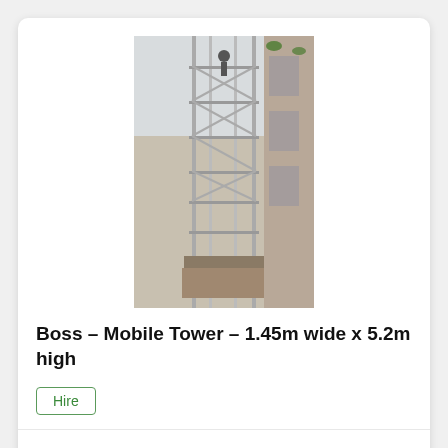[Figure (photo): Photograph of a Boss mobile scaffold tower, tall metal scaffolding structure inside a building with glass ceiling, viewed from below at an angle.]
Boss – Mobile Tower – 1.45m wide x 5.2m high
Hire
View Product
[Figure (photo): Partial photograph of another Boss mobile scaffold tower product, similar scaffold structure.]